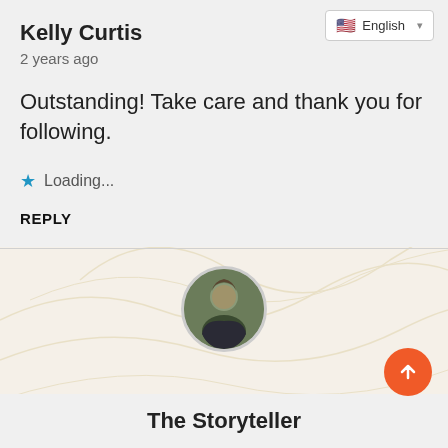English
Kelly Curtis
2 years ago
Outstanding! Take care and thank you for following.
Loading...
REPLY
[Figure (photo): Circular avatar photo of a man in a dark shirt outdoors]
The Storyteller